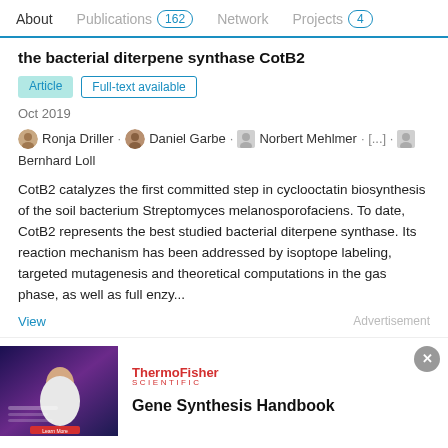About  Publications 162  Network  Projects 4
the bacterial diterpene synthase CotB2
Article  Full-text available
Oct 2019
Ronja Driller · Daniel Garbe · Norbert Mehlmer · [...] · Bernhard Loll
CotB2 catalyzes the first committed step in cyclooctatin biosynthesis of the soil bacterium Streptomyces melanosporofaciens. To date, CotB2 represents the best studied bacterial diterpene synthase. Its reaction mechanism has been addressed by isoptope labeling, targeted mutagenesis and theoretical computations in the gas phase, as well as full enzy...
View
Advertisement
[Figure (illustration): ThermoFisher Scientific advertisement banner showing a lab professional, with Gene Synthesis Handbook title]
Gene Synthesis Handbook